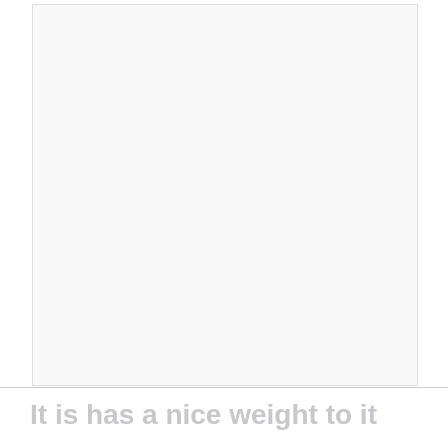[Figure (other): Large blank white/light gray rectangular area taking up most of the page]
It is has a nice weight to it